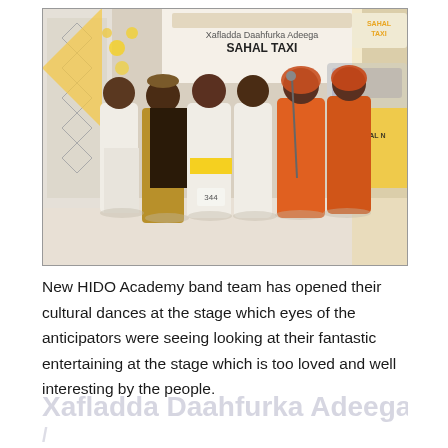[Figure (photo): Group of young people in traditional Somali cultural dress performing a dance on stage at the Xafladda Daahfurka Adeega SAHAL TAXI event. A banner in the background reads 'Xafladda Daahfurka Adeega SAHAL TAXI'. The performers wear white robes and traditional attire with yellow and orange accents. The venue is decorated with yellow flowers and geometric patterns.]
New HIDO Academy band team has opened their cultural dances at the stage which eyes of the anticipators were seeing looking at their fantastic entertaining at the stage which is too loved and well interesting by the people.
Xafladda Daahfurka Adeega /